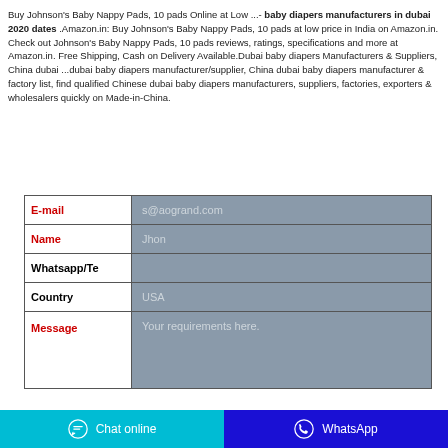Buy Johnson's Baby Nappy Pads, 10 pads Online at Low ...- baby diapers manufacturers in dubai 2020 dates .Amazon.in: Buy Johnson's Baby Nappy Pads, 10 pads at low price in India on Amazon.in. Check out Johnson's Baby Nappy Pads, 10 pads reviews, ratings, specifications and more at Amazon.in. Free Shipping, Cash on Delivery Available.Dubai baby diapers Manufacturers & Suppliers, China dubai ...dubai baby diapers manufacturer/supplier, China dubai baby diapers manufacturer & factory list, find qualified Chinese dubai baby diapers manufacturers, suppliers, factories, exporters & wholesalers quickly on Made-in-China.
| Field | Value |
| --- | --- |
| E-mail | s@aogrand.com |
| Name | Jhon |
| Whatsapp/Te |  |
| Country | USA |
| Message | Your requirements here. |
Chat online
WhatsApp